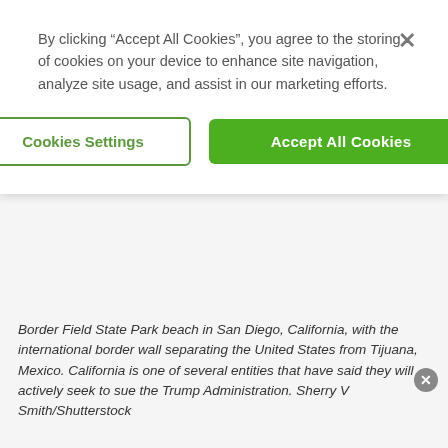By clicking “Accept All Cookies”, you agree to the storing of cookies on your device to enhance site navigation, analyze site usage, and assist in our marketing efforts.
Cookies Settings
Accept All Cookies
Border Field State Park beach in San Diego, California, with the international border wall separating the United States from Tijuana, Mexico. California is one of several entities that have said they will actively seek to sue the Trump Administration. Sherry V Smith/Shutterstock
3.  Disrupted Migratory Routes For Endangered Animals
The border wall will physically prevent animals from